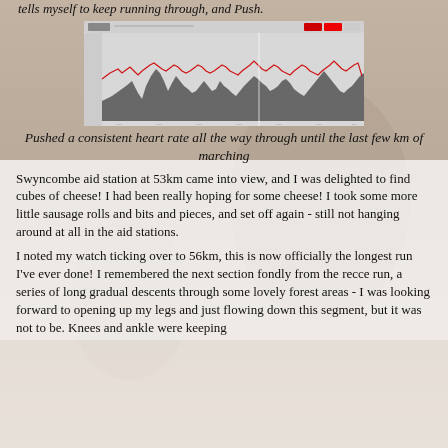tells myself to keep running through, and Push.
[Figure (continuous-plot): Heart rate and elevation chart showing data over the course of a run. Dark gray area chart shows elevation profile with peaks and valleys. Red line shows heart rate overlay. Chart has a light gray background with axis labels and a toolbar at top.]
Pushed a consistent heart rate all the way through until the last few km of marching
Swyncombe aid station at 53km came into view, and I was delighted to find cubes of cheese! I had been really hoping for some cheese! I took some more little sausage rolls and bits and pieces, and set off again - still not hanging around at all in the aid stations.
I noted my watch ticking over to 56km, this is now officially the longest run I've ever done! I remembered the next section fondly from the recce run, a series of long gradual descents through some lovely forest areas - I was looking forward to opening up my legs and just flowing down this segment, but it was not to be. Knees and ankle were keeping